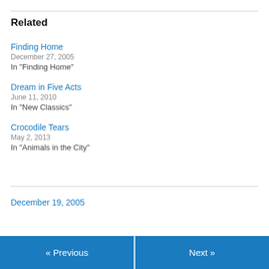Related
Finding Home
December 27, 2005
In "Finding Home"
Dream in Five Acts
June 11, 2010
In "New Classics"
Crocodile Tears
May 2, 2013
In "Animals in the City"
December 19, 2005
« Previous   Next »